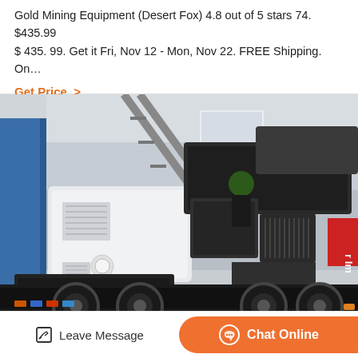Gold Mining Equipment (Desert Fox) 4.8 out of 5 stars 74. $435.99 $ 435. 99. Get it Fri, Nov 12 - Mon, Nov 22. FREE Shipping. On…
Get Price  >
[Figure (photo): Industrial mobile mining/crushing machine mounted on a truck, photographed inside a large factory warehouse. The machine is predominantly white and dark gray/black, with visible ventilation grilles, ladders, and large tires. A worker is visible near the top of the machine. In the background there are blue structural elements and signage.]
Leave Message
Chat Online